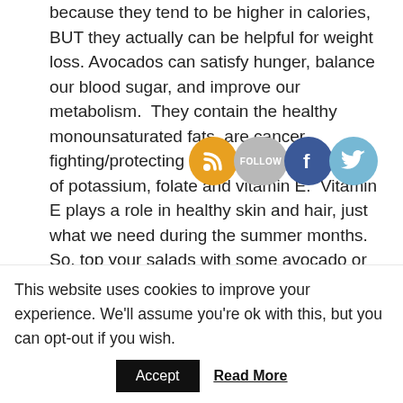because they tend to be higher in calories, BUT they actually can be helpful for weight loss. Avocados can satisfy hunger, balance our blood sugar, and improve our metabolism.  They contain the healthy monounsaturated fats, are cancer fighting/protecting and are a good source of potassium, folate and vitamin E.  Vitamin E plays a role in healthy skin and hair, just what we need during the summer months.  So, top your salads with some avocado or bring some guacamole to a BBQ for a quick and healthy snack!
5. Salmon – an excellent source of those omega-3s
This website uses cookies to improve your experience. We'll assume you're ok with this, but you can opt-out if you wish.